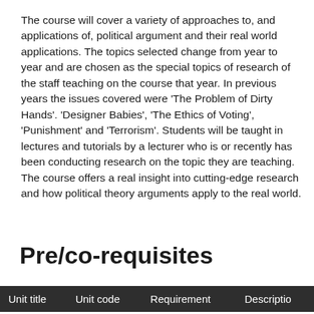The course will cover a variety of approaches to, and applications of, political argument and their real world applications. The topics selected change from year to year and are chosen as the special topics of research of the staff teaching on the course that year. In previous years the issues covered were 'The Problem of Dirty Hands'. 'Designer Babies', 'The Ethics of Voting', 'Punishment' and 'Terrorism'. Students will be taught in lectures and tutorials by a lecturer who is or recently has been conducting research on the topic they are teaching. The course offers a real insight into cutting-edge research and how political theory arguments apply to the real world.
Pre/co-requisites
| Unit title | Unit code | Requirement | Descriptio |
| --- | --- | --- | --- |